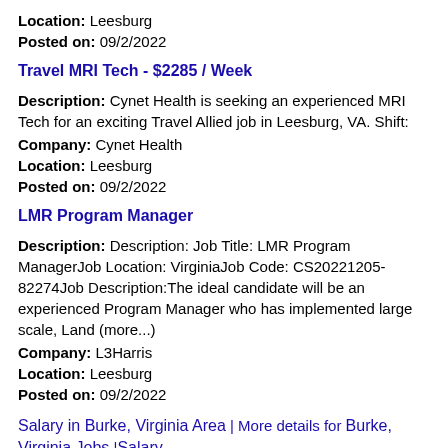Location: Leesburg
Posted on: 09/2/2022
Travel MRI Tech - $2285 / Week
Description: Cynet Health is seeking an experienced MRI Tech for an exciting Travel Allied job in Leesburg, VA. Shift:
Company: Cynet Health
Location: Leesburg
Posted on: 09/2/2022
LMR Program Manager
Description: Description: Job Title: LMR Program ManagerJob Location: VirginiaJob Code: CS20221205-82274Job Description:The ideal candidate will be an experienced Program Manager who has implemented large scale, Land (more...)
Company: L3Harris
Location: Leesburg
Posted on: 09/2/2022
Salary in Burke, Virginia Area | More details for Burke, Virginia Jobs |Salary
Clinical Nurse Educator- Inova Loudoun (Observation, PCU, Acute Care)